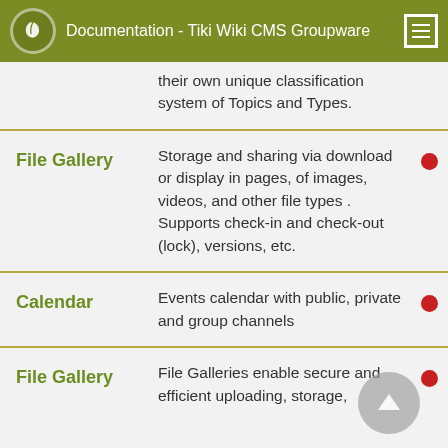Documentation - Tiki Wiki CMS Groupware
their own unique classification system of Topics and Types.
| Feature | Description |  |
| --- | --- | --- |
| File Gallery | Storage and sharing via download or display in pages, of images, videos, and other file types . Supports check-in and check-out (lock), versions, etc. | ● |
| Calendar | Events calendar with public, private and group channels | ● |
| File Gallery | File Galleries enable secure and efficient uploading, storage, | ● |